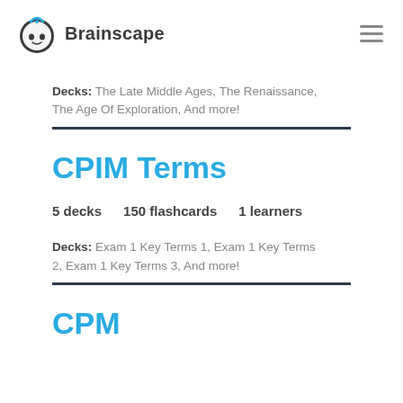Brainscape
Decks: The Late Middle Ages, The Renaissance, The Age Of Exploration, And more!
CPIM Terms
5 decks  150 flashcards  1 learners
Decks: Exam 1 Key Terms 1, Exam 1 Key Terms 2, Exam 1 Key Terms 3, And more!
CPM